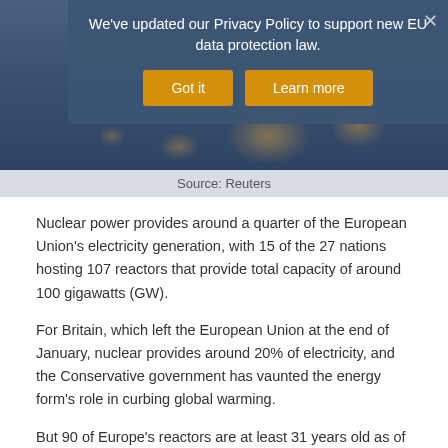[Figure (photo): Night cityscape photo with lights on water, partially obscured by a privacy policy overlay popup with 'Got it' and 'Learn more' buttons]
Source: Reuters
Nuclear power provides around a quarter of the European Union's electricity generation, with 15 of the 27 nations hosting 107 reactors that provide total capacity of around 100 gigawatts (GW).
For Britain, which left the European Union at the end of January, nuclear provides around 20% of electricity, and the Conservative government has vaunted the energy form's role in curbing global warming.
But 90 of Europe's reactors are at least 31 years old as of December 2020, data from this year's World Nuclear Industry Status Report showed. On average, they were designed to last 40 years.
Precise data on decommissioning is hard to obtain as